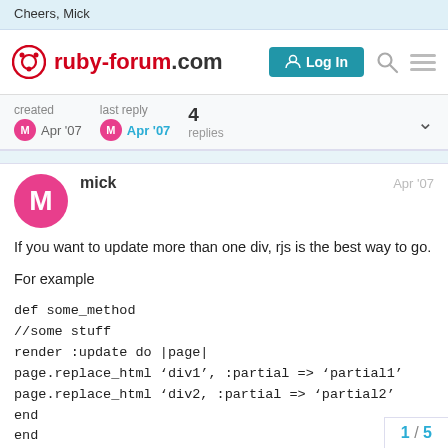Cheers, Mick
ruby-forum.com | Log In
created Apr '07  last reply Apr '07  4 replies
mick  Apr '07
If you want to update more than one div, rjs is the best way to go.

For example

def some_method
//some stuff
render :update do |page|
page.replace_html 'div1', :partial => 'partial1'
page.replace_html 'div2, :partial => 'partial2'
end
end
1 / 5